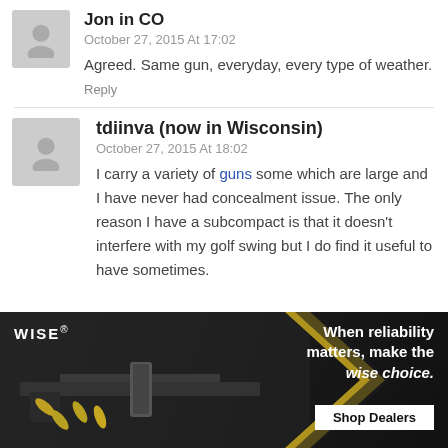Jon in CO
October 27, 2015 At 17:02
Agreed. Same gun, everyday, every type of weather.
Reply
tdiinva (now in Wisconsin)
October 27, 2015 At 18:02
I carry a variety of guns some which are large and I have never had concealment issue. The only reason I have a subcompact is that it doesn't interfere with my golf swing but I do find it useful to have sometimes.
[Figure (photo): Advertisement for WISE firearms/ammo brand showing a rifle and ammunition. Text reads: 'When reliability matters, make the wise choice. Shop Dealers']